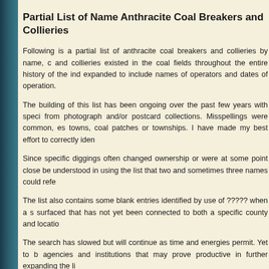Partial List of Name Anthracite Coal Breakers and Collieries
Following is a partial list of anthracite coal breakers and collieries by name, and collieries existed in the coal fields throughout the entire history of the ind expanded to include names of operators and dates of operation.
The building of this list has been ongoing over the past few years with speci from photograph and/or postcard collections. Misspellings were common, es towns, coal patches or townships. I have made my best effort to correctly iden
Since specific diggings often changed ownership or were at some point close be understood in using the list that two and sometimes three names could refe
The list also contains some blank entries identified by use of ????? when a surfaced that has not yet been connected to both a specific county and locatio
The search has slowed but will continue as time and energies permit. Yet to agencies and institutions that may prove productive in further expanding the li
It is my hope that this list, as incomplete as it is, will prove useful to anyon searches.
The list may be sorted by the user alphabetically by county, location or specifi